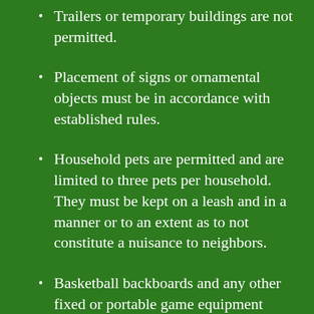Trailers or temporary buildings are not permitted.
Placement of signs or ornamental objects must be in accordance with established rules.
Household pets are permitted and are limited to three pets per household.  They must be kept on a leash and in a manner or to an extent as to not constitute a nuisance to neighbors.
Basketball backboards and any other fixed or portable game equipment shall be kept in the rear of the dwelling